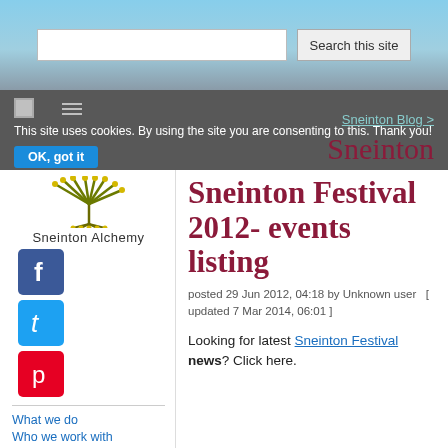Search this site
This site uses cookies. By using the site you are consenting to this. Thank you!
OK, got it
Sneinton Blog >
Sneinton
[Figure (logo): Sneinton Alchemy logo with plant graphic]
[Figure (logo): Facebook icon - blue square with white f]
[Figure (logo): Twitter icon - cyan square with white t]
[Figure (logo): Pinterest icon - red square with white p]
What we do
Who we work with
Publications and Policies
Alchemy Members and
Sneinton Festival 2012- events listing
posted 29 Jun 2012, 04:18 by Unknown user  [ updated 7 Mar 2014, 06:01 ]
Looking for latest Sneinton Festival news? Click here.